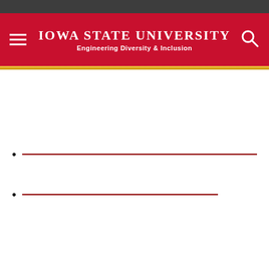Iowa State University — Engineering Diversity & Inclusion
[link item 1]
[link item 2]